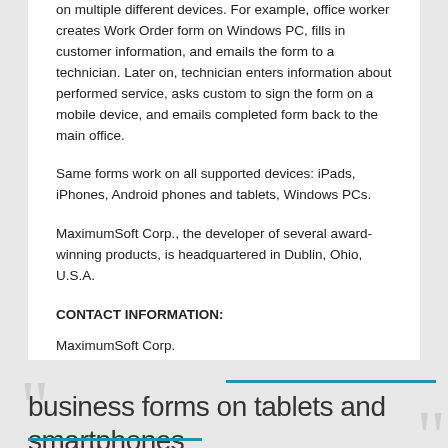on multiple different devices. For example, office worker creates Work Order form on Windows PC, fills in customer information, and emails the form to a technician. Later on, technician enters information about performed service, asks custom to sign the form on a mobile device, and emails completed form back to the main office.
Same forms work on all supported devices: iPads, iPhones, Android phones and tablets, Windows PCs.
MaximumSoft Corp., the developer of several award-winning products, is headquartered in Dublin, Ohio, U.S.A.
CONTACT INFORMATION:
MaximumSoft Corp.
http://www.forms-2-go.biz
All product and company names mentioned herein may be trademarks of their respective owners.
business forms on tablets and smartphones